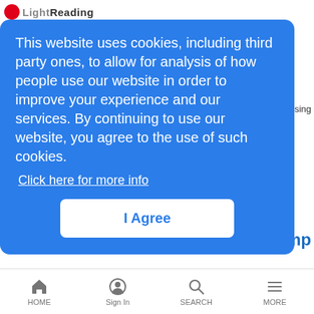Light Reading
This website uses cookies, including third party ones, to allow for analysis of how people use our website in order to improve your experience and our services. By continuing to use our website, you agree to the use of such cookies. Click here for more info
I Agree
s using
ump
so have
ing a
business case, Intel's Lynn Comp tells WiC.
Leading Lights 2016: Winners' Gallery
Slide Shows | 6/1/2016
See who picked up the 2016 Leading Lights awards at the gala dinner in Austin, Texas.
HOME  Sign In  SEARCH  MORE